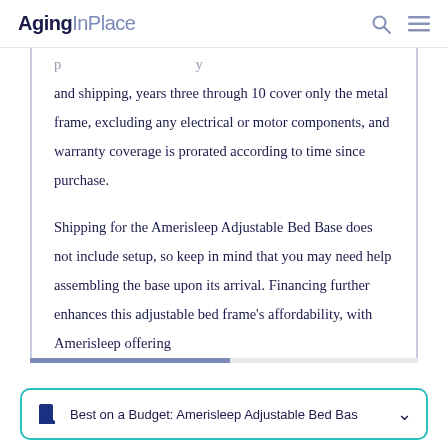AgingInPlace
and shipping, years three through 10 cover only the metal frame, excluding any electrical or motor components, and warranty coverage is prorated according to time since purchase.

Shipping for the Amerisleep Adjustable Bed Base does not include setup, so keep in mind that you may need help assembling the base upon its arrival. Financing further enhances this adjustable bed frame's affordability, with Amerisleep offering
Best on a Budget: Amerisleep Adjustable Bed Bas